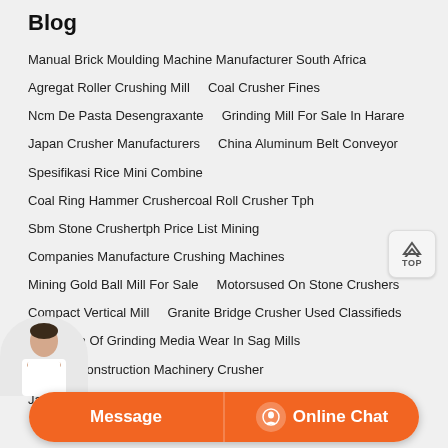Blog
Manual Brick Moulding Machine Manufacturer South Africa
Agregat Roller Crushing Mill    Coal Crusher Fines
Ncm De Pasta Desengraxante    Grinding Mill For Sale In Harare
Japan Crusher Manufacturers    China Aluminum Belt Conveyor
Spesifikasi Rice Mini Combine
Coal Ring Hammer Crushercoal Roll Crusher Tph
Sbm Stone Crushertph Price List Mining
Companies Manufacture Crushing Machines
Mining Gold Ball Mill For Sale    Motorsused On Stone Crushers
Compact Vertical Mill    Granite Bridge Crusher Used Classifieds
Prediction Of Grinding Media Wear In Sag Mills
Concrete Construction Machinery Crusher
Jaw Stone Crusher Machines For Sale In Uk